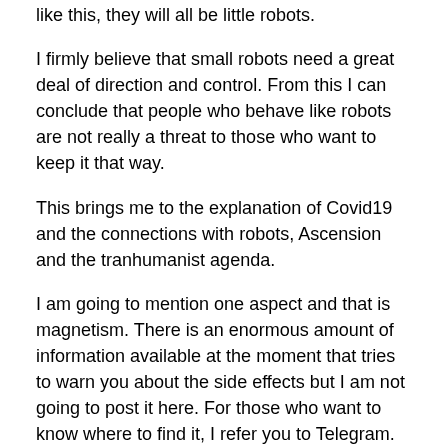like this, they will all be little robots.
I firmly believe that small robots need a great deal of direction and control. From this I can conclude that people who behave like robots are not really a threat to those who want to keep it that way.
This brings me to the explanation of Covid19 and the connections with robots, Ascension and the tranhumanist agenda.
I am going to mention one aspect and that is magnetism. There is an enormous amount of information available at the moment that tries to warn you about the side effects but I am not going to post it here. For those who want to know where to find it, I refer you to Telegram. You can download it from the following link: https;//t.me/TAndroidAPK. There you can find groups